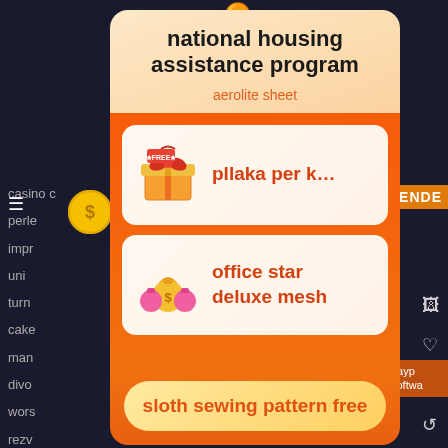national housing assistance program
aerolite sheet
pllaka per k…
office star deluxe mesh
sloth sewing pattern free